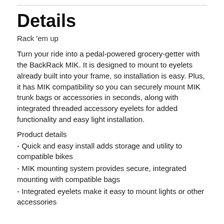Details
Rack 'em up
Turn your ride into a pedal-powered grocery-getter with the BackRack MIK. It is designed to mount to eyelets already built into your frame, so installation is easy. Plus, it has MIK compatibility so you can securely mount MIK trunk bags or accessories in seconds, along with integrated threaded accessory eyelets for added functionality and easy light installation.
Product details
- Quick and easy install adds storage and utility to compatible bikes
- MIK mounting system provides secure, integrated mounting with compatible bags
- Integrated eyelets make it easy to mount lights or other accessories